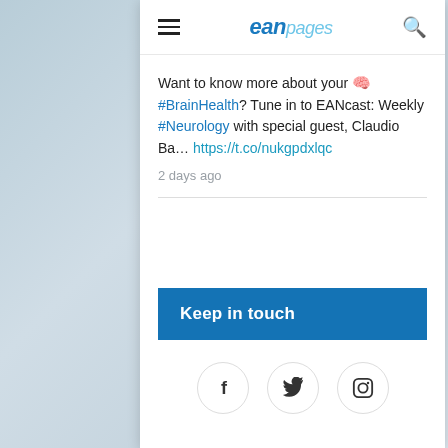eanpages
Want to know more about your 🧠 #BrainHealth? Tune in to EANcast: Weekly #Neurology with special guest, Claudio Ba… https://t.co/nukgpdxlqc
2 days ago
Keep in touch
[Figure (infographic): Three social media icon circles: Facebook (f), Twitter (bird), Instagram (camera)]